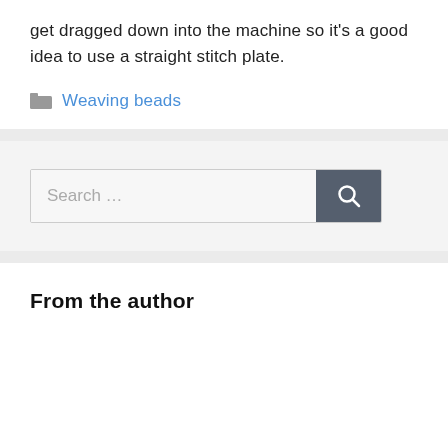get dragged down into the machine so it's a good idea to use a straight stitch plate.
Weaving beads
[Figure (screenshot): Search bar with text input area showing placeholder 'Search ...' and a dark gray button with magnifying glass icon]
From the author